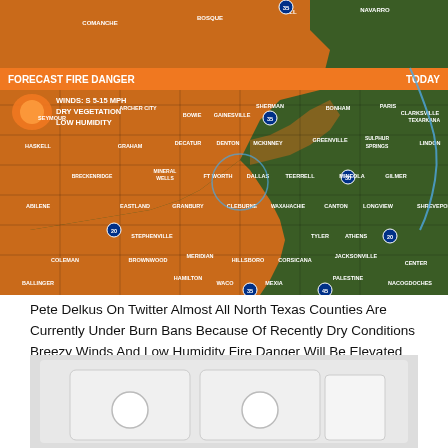[Figure (map): Texas county map showing Forecast Fire Danger for today. Orange-shaded counties in North/Central Texas indicate fire danger areas with winds S 5-15 MPH, dry vegetation, and low humidity. Green counties in East Texas are not under the same fire danger. City labels include Sherman, Bonham, Paris, Clarksville, Texarkana, Seymour, Archer City, Bowie, Gainesville, Haskell, Graham, Decatur, Denton, McKinney, Greenville, Sulphur Springs, Lindon, Breckenridge, Mineral Wells, Ft Worth, Dallas, Teerrell, Mineola, Gilmer, Abilene, Eastland, Granbury, Cleburne, Waxahachie, Canton, Tyler, Longview, Shreveport, Coleman, Stephenville, Athens, Jacksonville, Brownwood, Meridian, Hillsboro, Corsicana, Palestine, Center, Nacogdoches, Ballinger, Hamilton, Waco, Mexia, and others.]
Pete Delkus On Twitter Almost All North Texas Counties Are Currently Under Burn Bans Because Of Recently Dry Conditions Breezy Winds And Low Humidity Fire Danger Will Be Elevated For The Western
[Figure (photo): Partial image of what appears to be a white electronic device or appliance, cropped at bottom of page.]